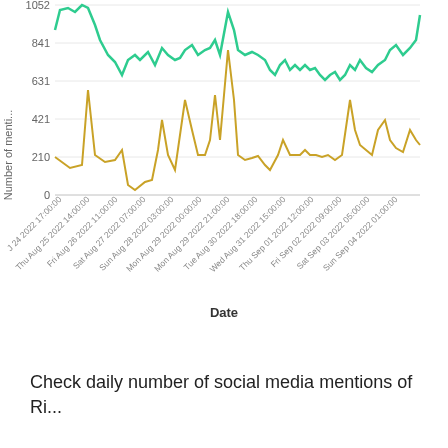[Figure (continuous-plot): A continuous line chart showing two series (green and gold/yellow) of social media mentions over time from Thu Aug 25 2022 to Sun Sep 04 2022. The green series stays high (roughly 631–1052+) while the gold series fluctuates lower (roughly 0–700) with several sharp spikes.]
Date
Check daily number of social media mentions of Ri...